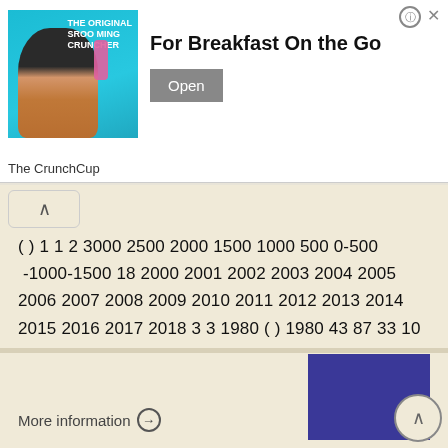[Figure (screenshot): Advertisement banner for The CrunchCup app — woman drinking from a bottle on teal background, headline 'For Breakfast On the Go', Open button, The CrunchCup caption]
( ) 1 1 2 3000 2500 2000 1500 1000 500 0-500 -1000-1500 18 2000 2001 2002 2003 2004 2005 2006 2007 2008 2009 2010 2011 2012 2013 2014 2015 2016 2017 2018 3 3 1980 ( ) 1980 43 87 33 10 10 2001 80 07 58.6
More information →
[Figure (illustration): Blue/indigo rectangular block image]
More information →